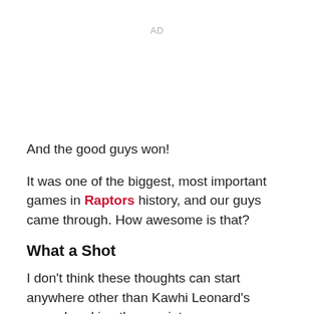AD
And the good guys won!
It was one of the biggest, most important games in Raptors history, and our guys came through. How awesome is that?
What a Shot
I don't think these thoughts can start anywhere other than Kawhi Leonard's game-breaking three pointer.